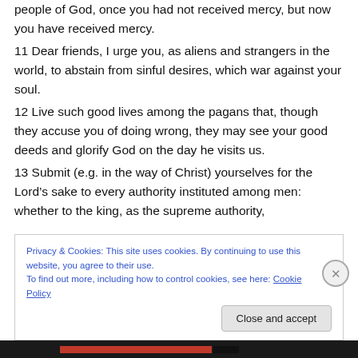people of God, once you had not received mercy, but now you have received mercy.
11 Dear friends, I urge you, as aliens and strangers in the world, to abstain from sinful desires, which war against your soul.
12 Live such good lives among the pagans that, though they accuse you of doing wrong, they may see your good deeds and glorify God on the day he visits us.
13 Submit (e.g. in the way of Christ) yourselves for the Lord’s sake to every authority instituted among men: whether to the king, as the supreme authority,
Privacy & Cookies: This site uses cookies. By continuing to use this website, you agree to their use.
To find out more, including how to control cookies, see here: Cookie Policy